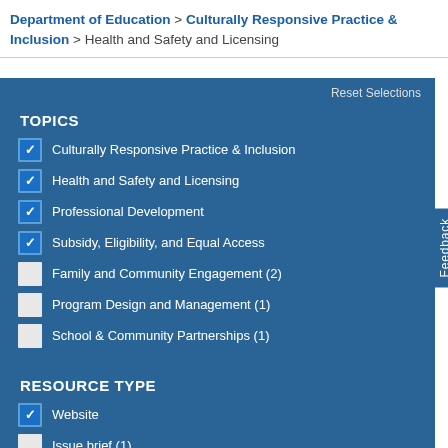Department of Education > Culturally Responsive Practice & Inclusion > Health and Safety and Licensing
TOPICS
Culturally Responsive Practice & Inclusion (checked)
Health and Safety and Licensing (checked)
Professional Development (checked)
Subsidy, Eligibility, and Equal Access (checked)
Family and Community Engagement (2) (unchecked)
Program Design and Management (1) (unchecked)
School & Community Partnerships (1) (unchecked)
RESOURCE TYPE
Website (checked)
Issue brief (1) (unchecked)
Tool kit (1) (unchecked)